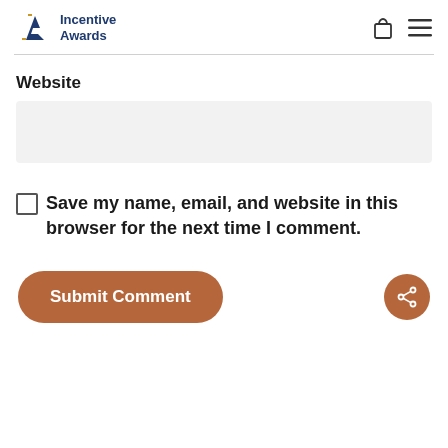Incentive Awards
Website
Save my name, email, and website in this browser for the next time I comment.
Submit Comment